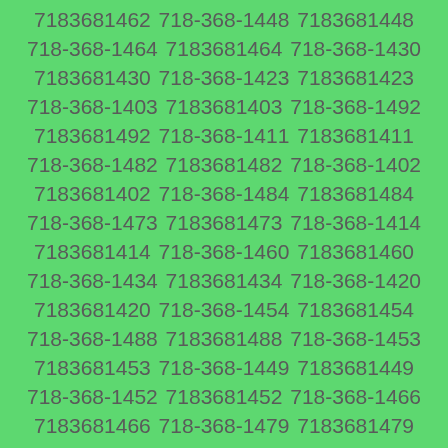7183681462 718-368-1448 7183681448 718-368-1464 7183681464 718-368-1430 7183681430 718-368-1423 7183681423 718-368-1403 7183681403 718-368-1492 7183681492 718-368-1411 7183681411 718-368-1482 7183681482 718-368-1402 7183681402 718-368-1484 7183681484 718-368-1473 7183681473 718-368-1414 7183681414 718-368-1460 7183681460 718-368-1434 7183681434 718-368-1420 7183681420 718-368-1454 7183681454 718-368-1488 7183681488 718-368-1453 7183681453 718-368-1449 7183681449 718-368-1452 7183681452 718-368-1466 7183681466 718-368-1479 7183681479 718-368-1472 7183681472 718-368-1438 7183681438 718-368-1444 7183681444 718-368-1428 7183681428 718-368-1422 7183681422 718-368-1459 7183681459 718-368-1490 7183681490 718-368-1493